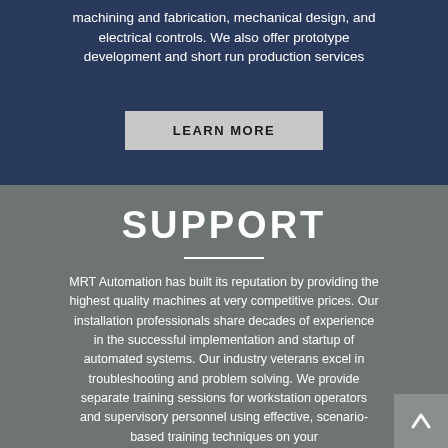machining and fabrication, mechanical design, and electrical controls. We also offer prototype development and short run production services
LEARN MORE
SUPPORT
MRT Automation has built its reputation by providing the highest quality machines at very competitive prices. Our installation professionals share decades of experience in the successful implementation and startup of automated systems. Our industry veterans excel in troubleshooting and problem solving. We provide separate training sessions for workstation operators and supervisory personnel using effective, scenario-based training techniques on your